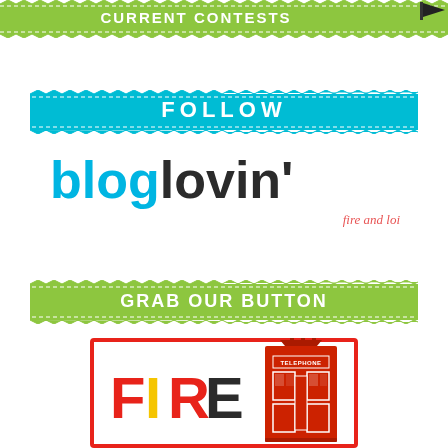[Figure (infographic): Green zigzag banner with text CURRENT CONTESTS and a black flag icon in the top right corner]
[Figure (infographic): Cyan/teal zigzag banner with text FOLLOW]
[Figure (logo): Bloglovin logo: 'blog' in cyan/blue and 'lovin\'' in dark/black, with subtitle 'fire and loi' in red italic below]
[Figure (infographic): Green zigzag banner with text GRAB OUR BUTTON]
[Figure (logo): Blog button with red border showing FIRE text in multicolor and a red telephone box illustration]